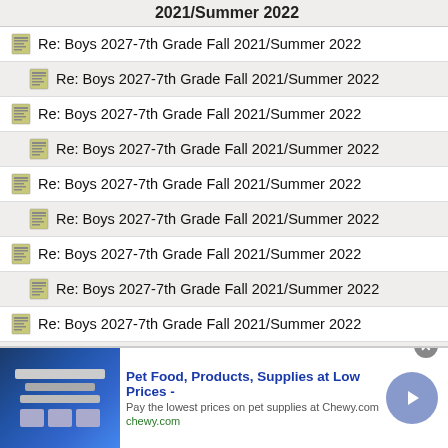2021/Summer 2022
Re: Boys 2027-7th Grade Fall 2021/Summer 2022
Re: Boys 2027-7th Grade Fall 2021/Summer 2022
Re: Boys 2027-7th Grade Fall 2021/Summer 2022
Re: Boys 2027-7th Grade Fall 2021/Summer 2022
Re: Boys 2027-7th Grade Fall 2021/Summer 2022
Re: Boys 2027-7th Grade Fall 2021/Summer 2022
Re: Boys 2027-7th Grade Fall 2021/Summer 2022
Re: Boys 2027-7th Grade Fall 2021/Summer 2022
Re: Boys 2027-7th Grade Fall 2021/Summer 2022
Re: Boys 2027-7th Grade Fall 2021/Summer 2022
Re: Boys 2027-7th Grade Fall 2021/Summer 2022
Re: Boys 2027-7th Grade Fall 2021/Summer 2022
Re: Boys 2027-7th Grade Fall 2021/Summer 2022
[Figure (other): Advertisement banner: Pet Food, Products, Supplies at Low Prices - Chewy.com]